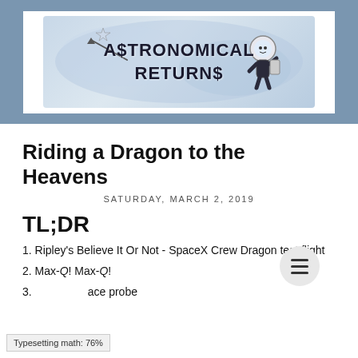[Figure (illustration): Blog header logo for 'Astronomical Returns' showing a cartoon astronaut, shooting star/comet, and watercolor space background with hand-lettered title text]
Riding a Dragon to the Heavens
SATURDAY, MARCH 2, 2019
TL;DR
1. Ripley's Believe It Or Not - SpaceX Crew Dragon test flight
2. Max-Q! Max-Q!
3. [space probe]
Typesetting math: 76%